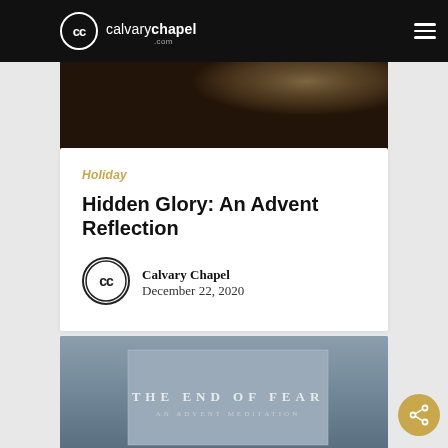calvarychapel.com
[Figure (photo): Dark hero image with bokeh light at top of article]
Holiday
Hidden Glory: An Advent Reflection
Calvary Chapel
December 22, 2020
[Figure (photo): Book cover image titled 'THE END OF FEAR - AN ADVENT MEDITATION']